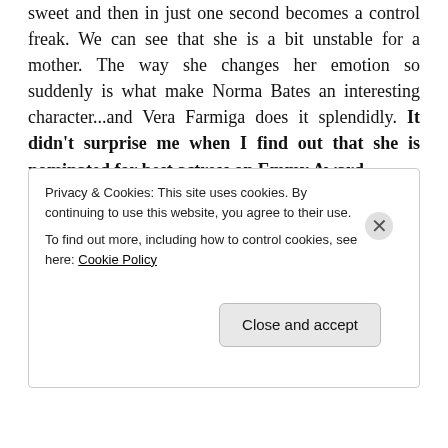sweet and then in just one second becomes a control freak. We can see that she is a bit unstable for a mother. The way she changes her emotion so suddenly is what make Norma Bates an interesting character...and Vera Farmiga does it splendidly. It didn't surprise me when I find out that she is nominated for best actress on Emmy Award.
How about Freddie? Freddie is also great. At first, I have my doubt because his face is too darn cute and boyish. It's hard to imagine such a face turns psycho.
Privacy & Cookies: This site uses cookies. By continuing to use this website, you agree to their use. To find out more, including how to control cookies, see here: Cookie Policy